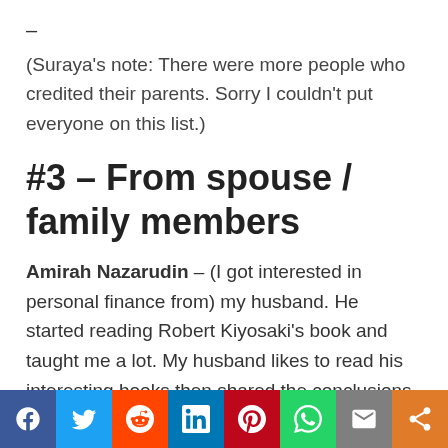–
(Suraya's note: There were more people who credited their parents. Sorry I couldn't put everyone on this list.)
#3 – From spouse / family members
Amirah Nazarudin – (I got interested in personal finance from) my husband. He started reading Robert Kiyosaki's book and taught me a lot. My husband likes to read his interesting books then shared the conclusions with me.
[Figure (other): Social media sharing buttons bar: Facebook, Twitter, Reddit, LinkedIn, Pinterest, WhatsApp, Email, Share]